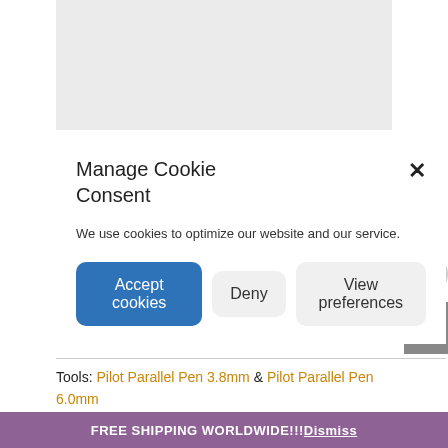[Figure (other): Gray image placeholder area at top of page]
Manage Cookie Consent
We use cookies to optimize our website and our service.
Accept cookies | Deny | View preferences
Tools: Pilot Parallel Pen 3.8mm & Pilot Parallel Pen 6.0mm
FREE SHIPPING WORLDWIDE!!! Dismiss